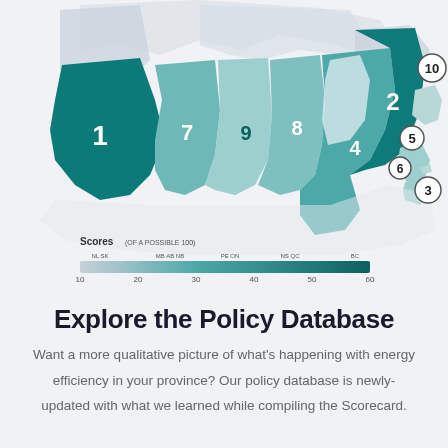[Figure (map): Map of Canada showing provinces color-coded by energy efficiency score (of a possible 100). Numbers 1-10 are overlaid on provinces indicating rankings. BC=1 (darkest teal), QC=2, NB=3 or NS area, ON=4 or SK, QC region=5, 6, SK/MB area=7,8,9,10. A gradient legend at bottom shows scores from 10 to 60, with province abbreviations: NL SK at 10-20, MB AB NB at 20-30, PE ON at 30-40, NS QC at 40-50, BC at 50-60.]
Explore the Policy Database
Want a more qualitative picture of what's happening with energy efficiency in your province? Our policy database is newly-updated with what we learned while compiling the Scorecard.